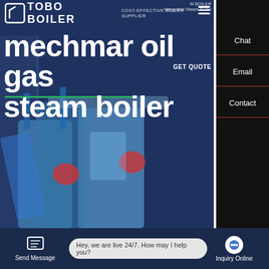TOBO BOILER - COST-EFFECTIVE BOILER SUPPLIER
[Figure (photo): Hero banner showing industrial steam boilers with dark blue overlay background. Website screenshot of a boiler supplier product page.]
mechmar oil gas steam boiler
mechmar oil gas steam boiler
Contact us now!
HOT NEWS
Hey, we are live 24/7. How may I help you?
Send Message | Inquiry Online